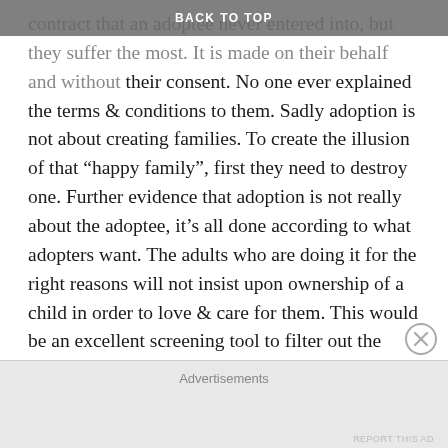BACK TO TOP
contract that an adoptee never entered into, but they suffer the most. It is made on their behalf and without their consent. No one ever explained the terms & conditions to them. Sadly adoption is not about creating families. To create the illusion of that “happy family”, first they need to destroy one. Further evidence that adoption is not really about the adoptee, it’s all done according to what adopters want. The adults who are doing it for the right reasons will not insist upon ownership of a child in order to love & care for them. This would be an excellent screening tool to filter out the applicants who should not be adopting at all. We need to start listening to the ones affected the most… the adoptees. You cannot possibly understand what adoption, loss of identity, loss of family and grief does, unless you’ve been there.
Advertisements